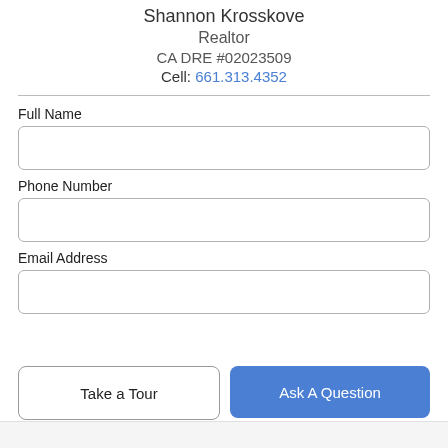Shannon Krosskove
Realtor
CA DRE #02023509
Cell: 661.313.4352
Full Name
Phone Number
Email Address
Take a Tour
Ask A Question